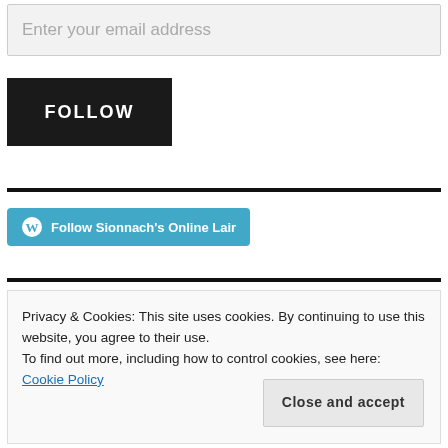Enter your email address
[Figure (other): Black FOLLOW button]
[Figure (other): WordPress Follow Sionnach's Online Lair button in blue]
Privacy & Cookies: This site uses cookies. By continuing to use this website, you agree to their use.
To find out more, including how to control cookies, see here: Cookie Policy
Close and accept